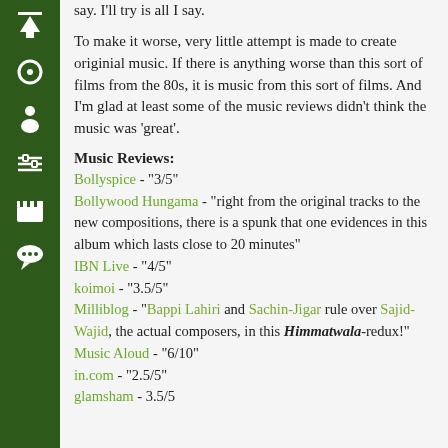[Figure (other): Dark green sidebar with white navigation icons: up arrow, circle, person, sliders, film clapperboard, speech bubble]
say. I'll try is all I say.
To make it worse, very little attempt is made to create originial music. If there is anything worse than this sort of films from the 80s, it is music from this sort of films. And I'm glad at least some of the music reviews didn't think the music was 'great'.
Music Reviews:
Bollyspice - "3/5"
Bollywood Hungama - "right from the original tracks to the new compositions, there is a spunk that one evidences in this album which lasts close to 20 minutes"
IBN Live - "4/5"
koimoi - "3.5/5"
Milliblog - "Bappi Lahiri and Sachin-Jigar rule over Sajid-Wajid, the actual composers, in this Himmatwala-redux!"
Music Aloud - "6/10"
in.com - "2.5/5"
glamsham - 3.5/5